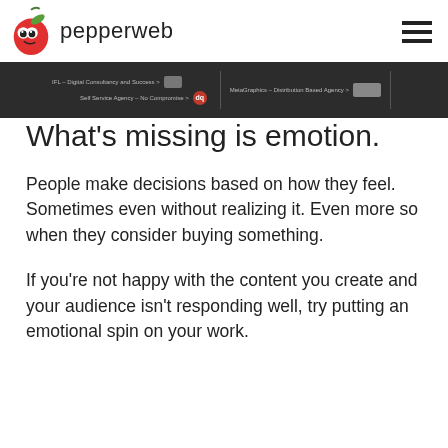pepperweb
What's missing is emotion.
People make decisions based on how they feel. Sometimes even without realizing it. Even more so when they consider buying something.
If you're not happy with the content you create and your audience isn't responding well, try putting an emotional spin on your work.